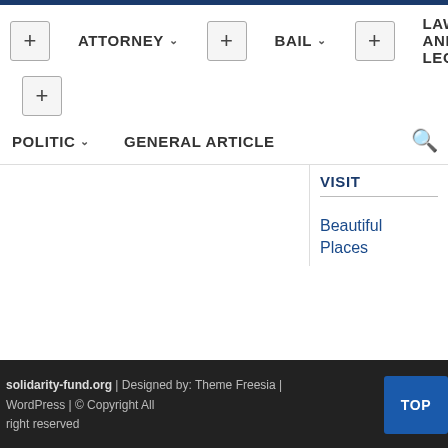Navigation bar with ATTORNEY, BAIL, LAW AND LEGAL, POLITIC, GENERAL ARTICLE menu items and search icon
Beautiful Places
solidarity-fund.org | Designed by: Theme Freesia | WordPress | © Copyright All right reserved